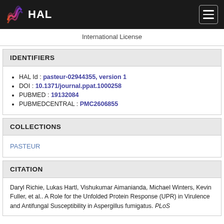HAL
International License
IDENTIFIERS
HAL Id : pasteur-02944355, version 1
DOI : 10.1371/journal.ppat.1000258
PUBMED : 19132084
PUBMEDCENTRAL : PMC2606855
COLLECTIONS
PASTEUR
CITATION
Daryl Richie, Lukas Hartl, Vishukumar Aimanianda, Michael Winters, Kevin Fuller, et al.. A Role for the Unfolded Protein Response (UPR) in Virulence and Antifungal Susceptibility in Aspergillus fumigatus. PLoS